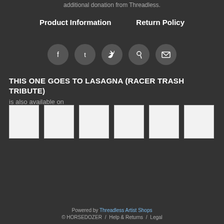additional donation from Threadless.
Product Information   Return Policy
[Figure (infographic): Row of five social media icon buttons (Facebook, Tumblr, Twitter, Pinterest, Email) as dark circular icons on dark background]
THIS ONE GOES TO LASAGNA (RACER TRASH TRIBUTE) is also available on
[Figure (infographic): Six white/light gray product thumbnail images in a row]
Powered by Threadless Artist Shops
© HORSEDOZER / Help & Returns / Legal